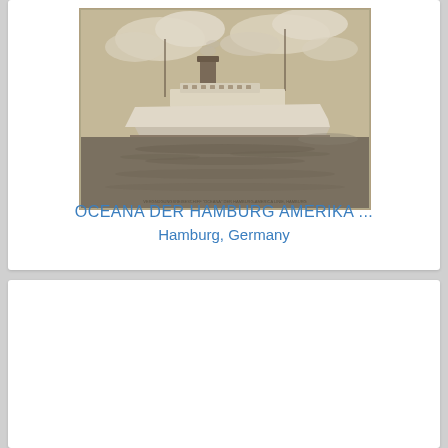[Figure (photo): Sepia-toned historical photograph of a steamship (Oceana) from the Hamburg Amerika Line, sailing on water with cloudy sky background. Small German caption text at bottom of photo.]
OCEANA DER HAMBURG AMERIKA ...
Hamburg, Germany